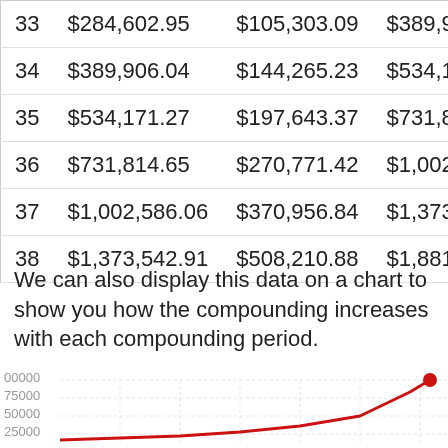| Year | Principal | Interest | Total |
| --- | --- | --- | --- |
| 33 | $284,602.95 | $105,303.09 | $389,906… |
| 34 | $389,906.04 | $144,265.23 | $534,171… |
| 35 | $534,171.27 | $197,643.37 | $731,814… |
| 36 | $731,814.65 | $270,771.42 | $1,002,5… |
| 37 | $1,002,586.06 | $370,956.84 | $1,373,5… |
| 38 | $1,373,542.91 | $508,210.88 | $1,881,7… |
We can also display this data on a chart to show you how the compounding increases with each compounding period.
[Figure (line-chart): Partial line chart showing compounding growth over periods, y-axis labels visible: 00000, 75000, 50000, 25000. A red line curves sharply upward at the right edge.]